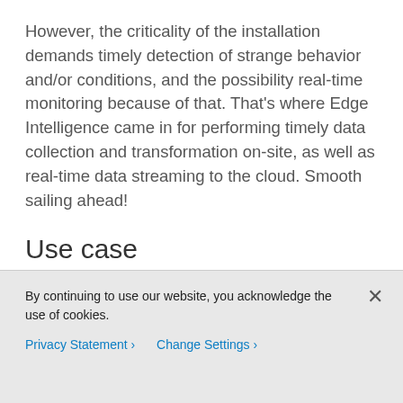However, the criticality of the installation demands timely detection of strange behavior and/or conditions, and the possibility real-time monitoring because of that. That's where Edge Intelligence came in for performing timely data collection and transformation on-site, as well as real-time data streaming to the cloud. Smooth sailing ahead!
Use case
Leveraging the Cisco IoT portfolio, we enabled the following workflow:
By continuing to use our website, you acknowledge the use of cookies.
Privacy Statement > Change Settings >